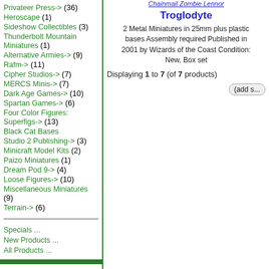Privateer Press-> (36)
Heroscape (1)
Sideshow Collectibles (3)
Thunderbolt Mountain Miniatures (1)
Alternative Armies-> (9)
Rafm-> (11)
Cipher Studios-> (7)
MERCS Minis-> (7)
Dark Age Games-> (10)
Spartan Games-> (6)
Four Color Figures: Superfigs-> (13)
Black Cat Bases
Studio 2 Publishing-> (3)
Minicraft Model Kits (2)
Paizo Miniatures (1)
Dream Pod 9-> (4)
Loose Figures-> (10)
Miscellaneous Miniatures (9)
Terrain-> (6)
Specials ...
New Products ...
All Products ...
Chainmail Zombie Troglodyte
2 Metal Miniatures in 25mm plus plastic bases Assembly required Published in 2001 by Wizards of the Coast Condition: New, Box set
Displaying 1 to 7 (of 7 products)
New Products [more]
[Figure (photo): White miniature figure of Vor: Zykhee Close Weapon Tips 1]
Vor: Zykhee Close Weapon Tips 1